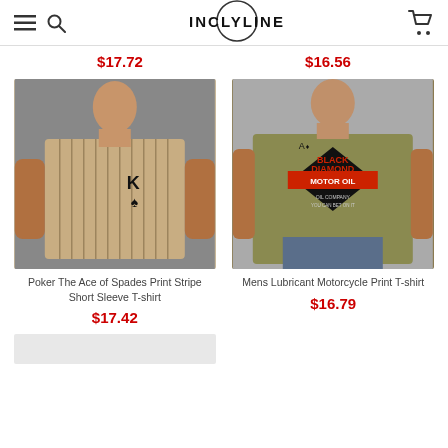INCLYLINE
$17.72
$16.56
[Figure (photo): Man wearing a beige striped short sleeve t-shirt with King of Spades card print]
Poker The Ace of Spades Print Stripe Short Sleeve T-shirt
$17.42
[Figure (photo): Man wearing a olive green t-shirt with Black Diamond Motor Oil print]
Mens Lubricant Motorcycle Print T-shirt
$16.79